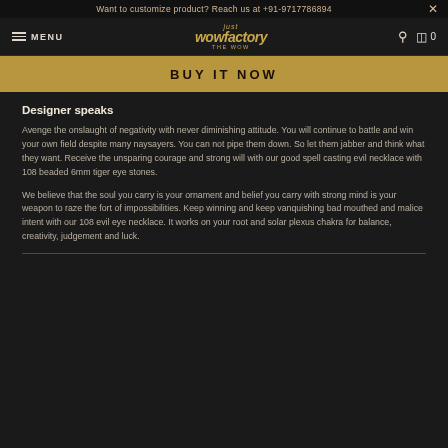Want to customize product? Reach us at +91-9717786894
MENU | just wowfactory
[Figure (screenshot): BUY IT NOW button in gold/brown color]
Designer speaks
Avenge the onslaught of negativity with never diminishing attitude. You will continue to battle and win your own field despite many naysayers. You can not pipe them down. So let them jabber and think what they want. Receive the unsparing courage and strong will with our good spell casting evil necklace with 108 beaded 6mm tiger eye stones.
We believe that the soul you carry is your ornament and belief you carry with strong mind is your weapon to raze the fort of impossibilities. Keep winning and keep vanquishing bad mouthed and malice intent with our 108 evil eye necklace. It works on your root and solar plexus chakra for balance, creativity, judgement and luck.